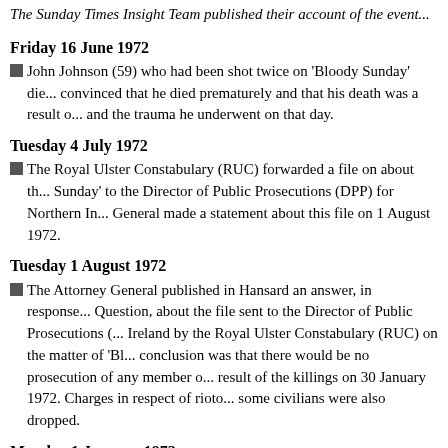The Sunday Times Insight Team published their account of the event...
Friday 16 June 1972
John Johnson (59) who had been shot twice on 'Bloody Sunday' died... convinced that he died prematurely and that his death was a result of... and the trauma he underwent on that day.
Tuesday 4 July 1972
The Royal Ulster Constabulary (RUC) forwarded a file on about th... Sunday' to the Director of Public Prosecutions (DPP) for Northern Ir... General made a statement about this file on 1 August 1972.
Tuesday 1 August 1972
The Attorney General published in Hansard an answer, in response... Question, about the file sent to the Director of Public Prosecutions (... Ireland by the Royal Ulster Constabulary (RUC) on the matter of 'Bl... conclusion was that there would be no prosecution of any member o... result of the killings on 30 January 1972. Charges in respect of rioto... some civilians were also dropped.
Monday 1 January 1973
Lieutenant Colonel Wilford, the Commanding Officer of the First... 'Bloody Sunday', was awarded an OBE in the New Year's Honours L...
x August 1973
The inquest into the deaths on 'Bloody Sunday' (30 January 1972)...